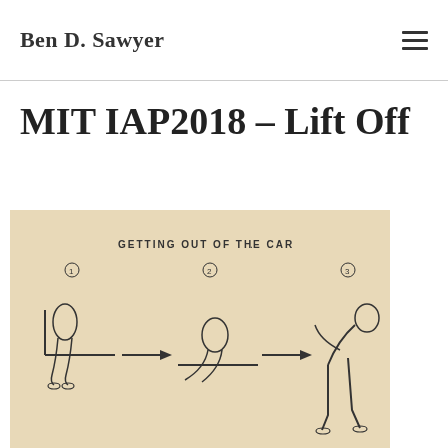Ben D. Sawyer
MIT IAP2018 – Lift Off
[Figure (illustration): Hand-drawn sketch on beige paper showing three sequential steps titled 'GETTING OUT OF THE CAR'. Step 1 (circled 1): person seated in car with legs forward. Arrow pointing right. Step 2 (circled 2): person swiveling to edge of seat. Arrow pointing right. Step 3 (circled 3): person standing up from seat, viewed from side.]